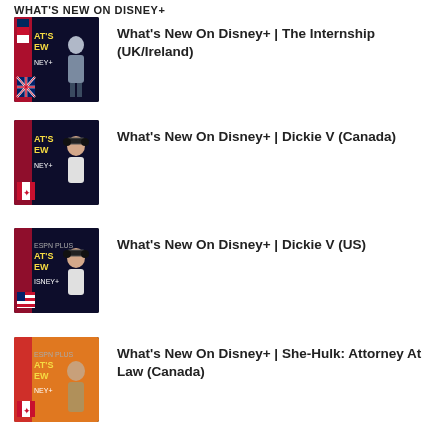WHAT'S NEW ON DISNEY+
What's New On Disney+ | The Internship (UK/Ireland)
What's New On Disney+ | Dickie V (Canada)
What's New On Disney+ | Dickie V (US)
What's New On Disney+ | She-Hulk: Attorney At Law (Canada)